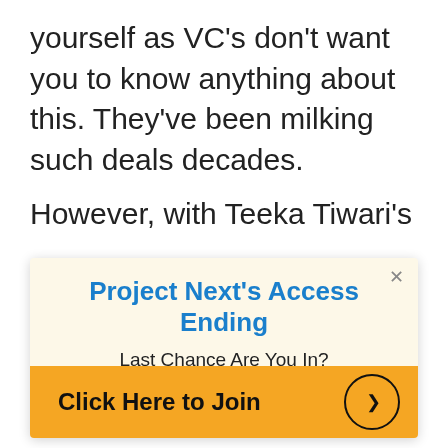yourself as VC's don't want you to know anything about this. They've been milking such deals decades.
However, with Teeka Tiwari's
Project Next's Access Ending
Last Chance Are You In?
Click Here to Join